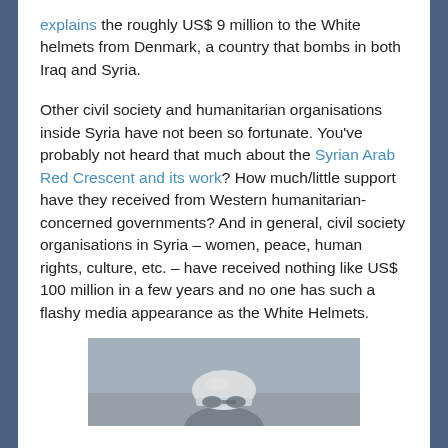explains the roughly US$ 9 million to the White helmets from Denmark, a country that bombs in both Iraq and Syria.
Other civil society and humanitarian organisations inside Syria have not been so fortunate. You've probably not heard that much about the Syrian Arab Red Crescent and its work? How much/little support have they received from Western humanitarian-concerned governments? And in general, civil society organisations in Syria – women, peace, human rights, culture, etc. – have received nothing like US$ 100 million in a few years and no one has such a flashy media appearance as the White Helmets.
[Figure (photo): A photo showing a person wearing a white helmet, partially visible, in a dusty or smoky scene.]